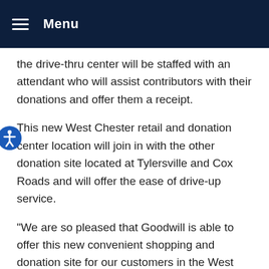Menu
the drive-thru center will be staffed with an attendant who will assist contributors with their donations and offer them a receipt.
This new West Chester retail and donation center location will join in with the other donation site located at Tylersville and Cox Roads and will offer the ease of drive-up service.
“We are so pleased that Goodwill is able to offer this new convenient shopping and donation site for our customers in the West Chester/Butler County area and we appreciate their generous support of